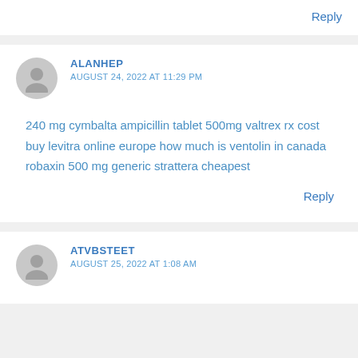Reply
ALANHEP
AUGUST 24, 2022 AT 11:29 PM
240 mg cymbalta ampicillin tablet 500mg valtrex rx cost buy levitra online europe how much is ventolin in canada robaxin 500 mg generic strattera cheapest
Reply
ATVBSTEET
AUGUST 25, 2022 AT 1:08 AM